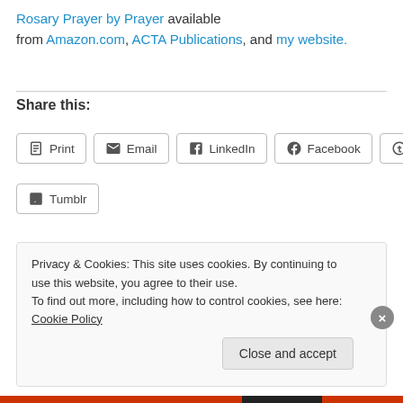Rosary Prayer by Prayer available from Amazon.com, ACTA Publications, and my website.
Share this:
[Figure (other): Social share buttons: Print, Email, LinkedIn, Facebook, Pinterest, Tumblr]
Loading...
Privacy & Cookies: This site uses cookies. By continuing to use this website, you agree to their use. To find out more, including how to control cookies, see here: Cookie Policy
Close and accept